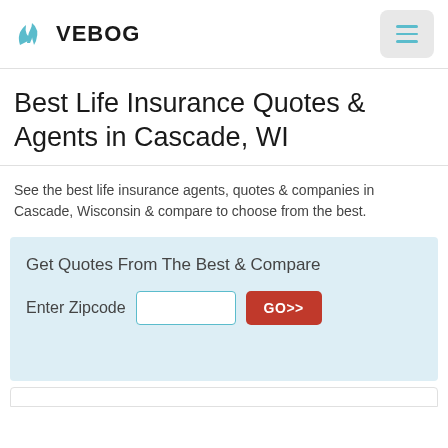VEBOG
Best Life Insurance Quotes & Agents in Cascade, WI
See the best life insurance agents, quotes & companies in Cascade, Wisconsin & compare to choose from the best.
Get Quotes From The Best & Compare
Enter Zipcode  [input]  GO>>